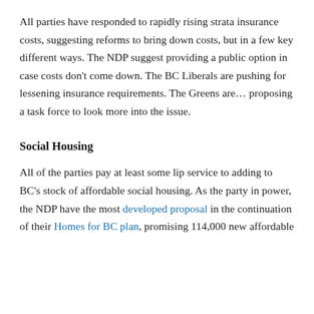All parties have responded to rapidly rising strata insurance costs, suggesting reforms to bring down costs, but in a few key different ways. The NDP suggest providing a public option in case costs don't come down. The BC Liberals are pushing for lessening insurance requirements. The Greens are... proposing a task force to look more into the issue.
Social Housing
All of the parties pay at least some lip service to adding to BC's stock of affordable social housing. As the party in power, the NDP have the most developed proposal in the continuation of their Homes for BC plan, promising 114,000 new affordable units over the next 10 years. The NDP...